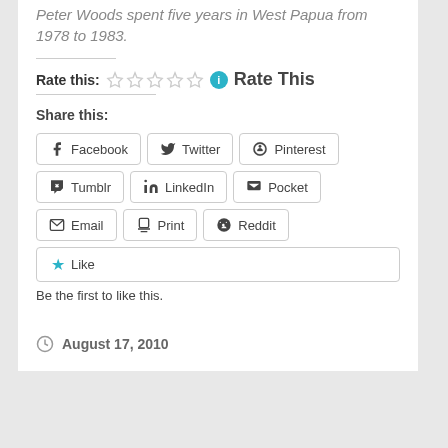Peter Woods spent five years in West Papua from 1978 to 1983.
Rate this: ☆☆☆☆☆ ℹ Rate This
Share this:
Facebook  Twitter  Pinterest  Tumblr  LinkedIn  Pocket  Email  Print  Reddit
Like
Be the first to like this.
August 17, 2010